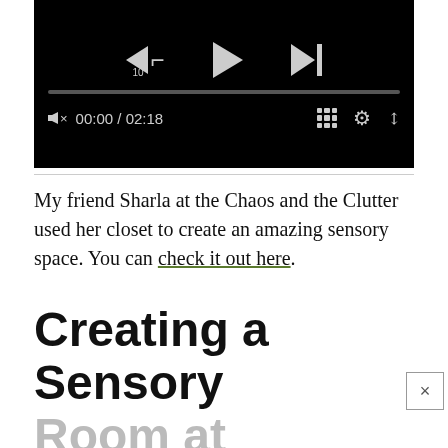[Figure (screenshot): Video player screenshot showing playback controls: rewind 10s button, play button, skip-next button, progress bar at 00:00/02:18, volume (muted), grid, settings, and fullscreen icons on a black background.]
My friend Sharla at the Chaos and the Clutter used her closet to create an amazing sensory space. You can check it out here.
Creating a Sensory Room at Home